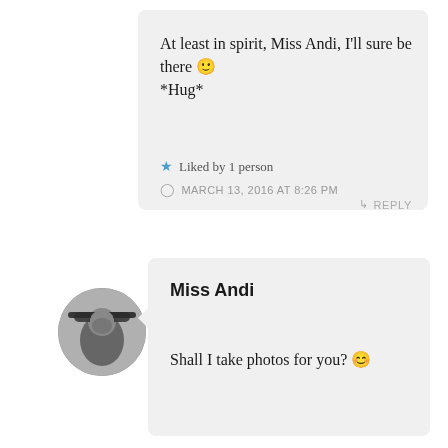At least in spirit, Miss Andi, I'll sure be there 🙂 *Hug*
★ Liked by 1 person
MARCH 13, 2016 AT 8:26 PM
↪ REPLY
[Figure (photo): Circular avatar photo of Miss Andi, a person wearing a wide-brim hat, black and white photo]
Miss Andi
Shall I take photos for you? 😊